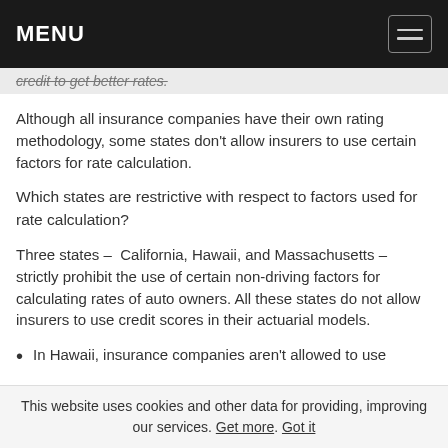MENU
credit to get better rates.
Although all insurance companies have their own rating methodology, some states don't allow insurers to use certain factors for rate calculation.
Which states are restrictive with respect to factors used for rate calculation?
Three states – California, Hawaii, and Massachusetts – strictly prohibit the use of certain non-driving factors for calculating rates of auto owners. All these states do not allow insurers to use credit scores in their actuarial models.
In Hawaii, insurance companies aren't allowed to use
This website uses cookies and other data for providing, improving our services. Get more. Got it